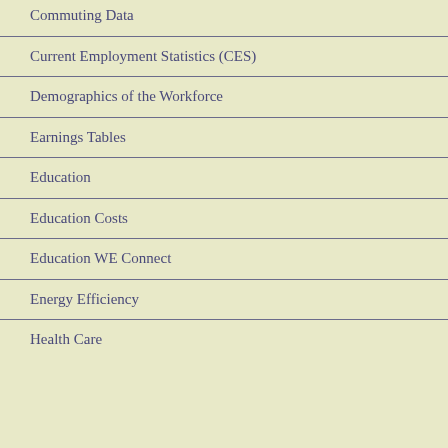Commuting Data
Current Employment Statistics (CES)
Demographics of the Workforce
Earnings Tables
Education
Education Costs
Education WE Connect
Energy Efficiency
Health Care